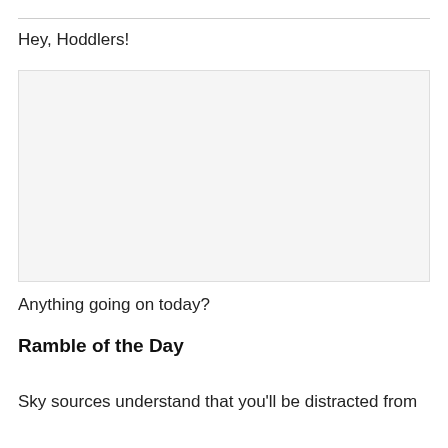Hey, Hoddlers!
[Figure (photo): Large image placeholder with light gray background]
Anything going on today?
Ramble of the Day
Sky sources understand that you'll be distracted from